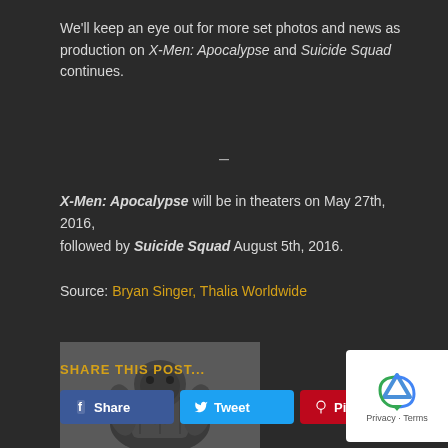We'll keep an eye out for more set photos and news as production on X-Men: Apocalypse and Suicide Squad continues.
—
X-Men: Apocalypse will be in theaters on May 27th, 2016, followed by Suicide Squad August 5th, 2016.
Source: Bryan Singer, Thalia Worldwide
[Figure (photo): Creature/monster character from Suicide Squad, dark armored figure]
SHARE THIS POST...
Share  Tweet  Pin it  G+ +1